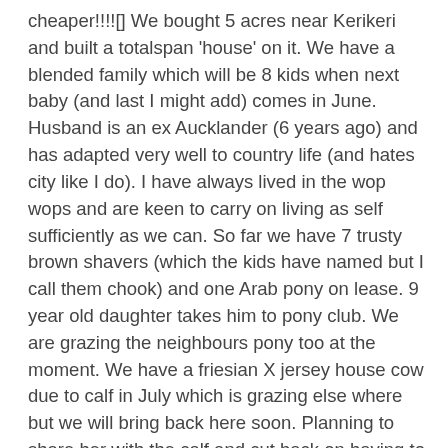cheaper!!!![] We bought 5 acres near Kerikeri and built a totalspan 'house' on it. We have a blended family which will be 8 kids when next baby (and last I might add) comes in June. Husband is an ex Aucklander (6 years ago) and has adapted very well to country life (and hates city like I do). I have always lived in the wop wops and are keen to carry on living as self sufficiently as we can. So far we have 7 trusty brown shavers (which the kids have named but I call them chook) and one Arab pony on lease. 9 year old daughter takes him to pony club. We are grazing the neighbours pony too at the moment. We have a friesian X jersey house cow due to calf in July which is grazing else where but we will bring back here soon. Planning to share her with the calf and cut back on having to buy dairy products. Once calf is weaned we would like to get a weaner pig or two. Kids also want a dog and cat. Need advice